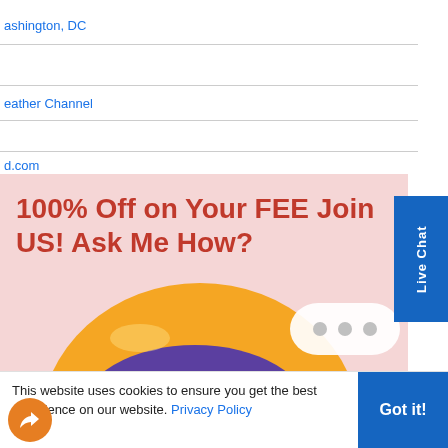ashington, DC
eather Channel
d.com
und: Local Weather Forecast, News and Conditions
100% Off on Your FEE Join US! Ask Me How?
[Figure (illustration): Chat bot illustration with yellow dome, purple chat bubble, red element, and question mark on pink/red background]
This website uses cookies to ensure you get the best experience on our website. Privacy Policy
Got it!